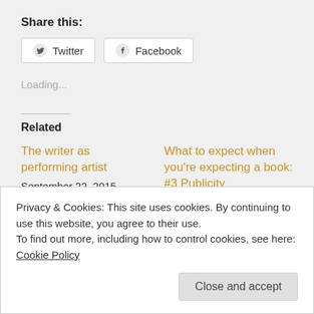Share this:
Twitter  Facebook
Loading...
Related
The writer as performing artist
September 22, 2015
In "Events"
What to expect when you're expecting a book: #3 Publicity
April 22, 2017
In "Media and reviews"
Privacy & Cookies: This site uses cookies. By continuing to use this website, you agree to their use.
To find out more, including how to control cookies, see here:
Cookie Policy
Close and accept